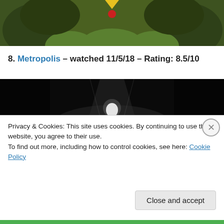[Figure (illustration): Animated/cartoon illustration showing a large dark green creature or character, cropped at top of page.]
8. Metropolis – watched 11/5/18 – Rating: 8.5/10
[Figure (photo): Black and white still from the film Metropolis showing a figure on stage with spotlight, dark background.]
Privacy & Cookies: This site uses cookies. By continuing to use this website, you agree to their use.
To find out more, including how to control cookies, see here: Cookie Policy
Close and accept